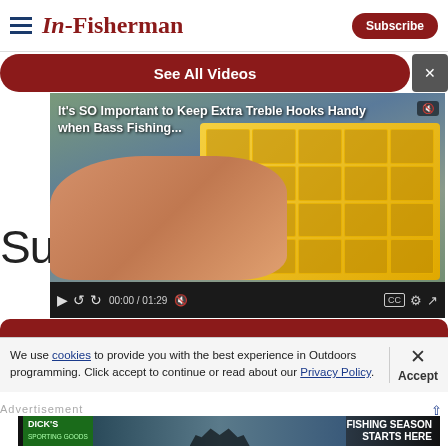In-Fisherman | Subscribe
See All Videos
[Figure (screenshot): Video player showing a fishing tackle box with hooks, overlaid title text reading 'It's SO Important to Keep Extra Treble Hooks Handy when Bass Fishing', video controls showing 00:00 / 01:29]
Sub
We use cookies to provide you with the best experience in Outdoors programming. Click accept to continue or read about our Privacy Policy.
Advertisement
[Figure (photo): Dick's Sporting Goods advertisement banner reading 'FISHING SEASON STARTS HERE' with silhouettes of fishermen on a boat at sunset]